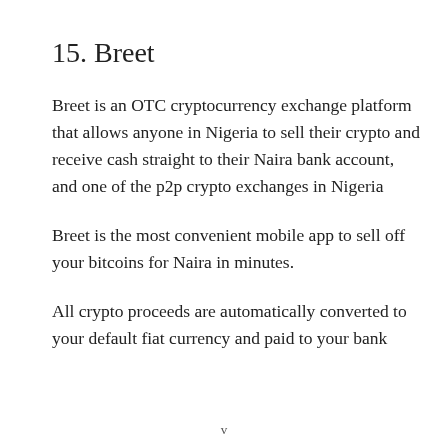15. Breet
Breet is an OTC cryptocurrency exchange platform that allows anyone in Nigeria to sell their crypto and receive cash straight to their Naira bank account, and one of the p2p crypto exchanges in Nigeria
Breet is the most convenient mobile app to sell off your bitcoins for Naira in minutes.
All crypto proceeds are automatically converted to your default fiat currency and paid to your bank
v